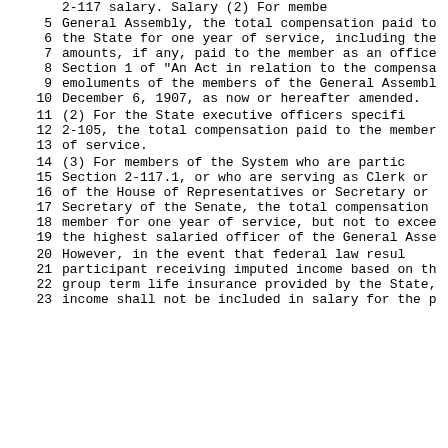General Assembly, the total compensation paid to the State for one year of service, including the amounts, if any, paid to the member as an office Section 1 of "An Act in relation to the compensa emoluments of the members of the General Assembl December 6, 1907, as now or hereafter amended. (2) For the State executive officers specifi 2-105, the total compensation paid to the member of service. (3) For members of the System who are partic Section 2-117.1, or who are serving as Clerk or of the House of Representatives or Secretary or Secretary of the Senate, the total compensation member for one year of service, but not to excee the highest salaried officer of the General Asse However, in the event that federal law resul participant receiving imputed income based on th group term life insurance provided by the State, income shall not be included in salary for the p